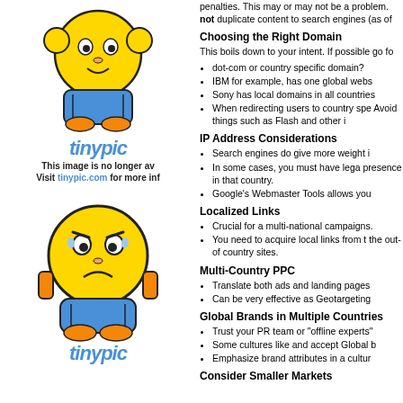[Figure (illustration): TinyPic placeholder image showing a cartoon mascot character and tinypic logo with message 'This image is no longer available. Visit tinypic.com for more info.']
Duplicate Content - same language content... penalties. This may or may not be a problem. not duplicate content to search engines (as of
Choosing the Right Domain
This boils down to your intent. If possible go fo
dot-com or country specific domain?
IBM for example, has one global webs
Sony has local domains in all countries
When redirecting users to country spe Avoid things such as Flash and other i
IP Address Considerations
Search engines do give more weight i
In some cases, you must have lega presence in that country.
Google's Webmaster Tools allows you
Localized Links
Crucial for a multi-national campaigns.
You need to acquire local links from t the out-of country sites.
Multi-Country PPC
Translate both ads and landing pages
Can be very effective as Geotargeting
Global Brands in Multiple Countries
Trust your PR team or "offline experts"
Some cultures like and accept Global b
Emphasize brand attributes in a cultur
Consider Smaller Markets
[Figure (illustration): Second TinyPic placeholder image with upset/sad cartoon mascot character and tinypic logo]